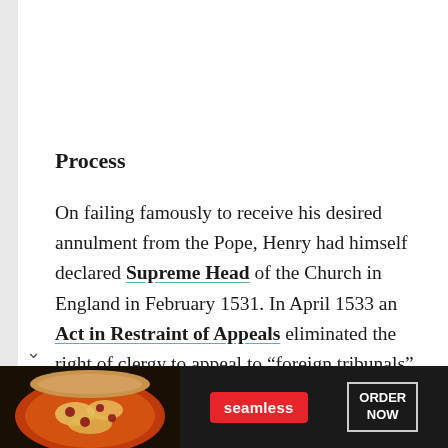Process
On failing famously to receive his desired annulment from the Pope, Henry had himself declared Supreme Head of the Church in England in February 1531. In April 1533 an Act in Restraint of Appeals eliminated the right of clergy to appeal to “foreign tribunals” (Rome) over
[Figure (photo): Seamless food delivery advertisement banner showing pizza with Seamless logo and ORDER NOW button]